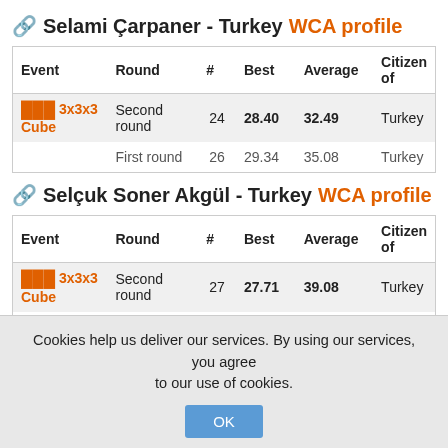Selami Çarpaner - Turkey WCA profile
| Event | Round | # | Best | Average | Citizen of |
| --- | --- | --- | --- | --- | --- |
| 3x3x3 Cube | Second round | 24 | 28.40 | 32.49 | Turkey |
|  | First round | 26 | 29.34 | 35.08 | Turkey |
Selçuk Soner Akgül - Turkey WCA profile
| Event | Round | # | Best | Average | Citizen of |
| --- | --- | --- | --- | --- | --- |
| 3x3x3 Cube | Second round | 27 | 27.71 | 39.08 | Turkey |
|  | First round | 28 | 32.72 | 39.32 | Turkey |
Sema Nur Kutlutürk - Turkey WCA profile
Cookies help us deliver our services. By using our services, you agree to our use of cookies.